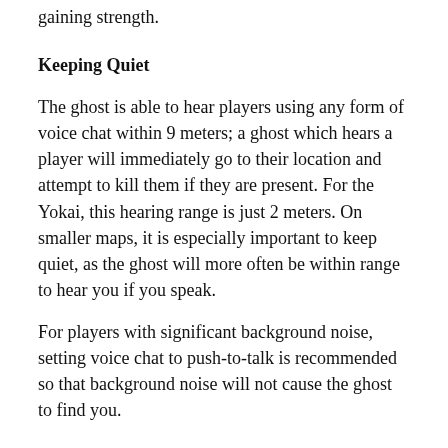gaining strength.
Keeping Quiet
The ghost is able to hear players using any form of voice chat within 9 meters; a ghost which hears a player will immediately go to their location and attempt to kill them if they are present. For the Yokai, this hearing range is just 2 meters. On smaller maps, it is especially important to keep quiet, as the ghost will more often be within range to hear you if you speak.
For players with significant background noise, setting voice chat to push-to-talk is recommended so that background noise will not cause the ghost to find you.
Recognising The End Of A Hunt
When a hunt ends, the ghost will disappear and be teleported back to its room, hunting sounds will cease, and all lights on-site will turn off and be toggleable again. If hiding away from the ghost, try toggling a light source to see if it turns on,